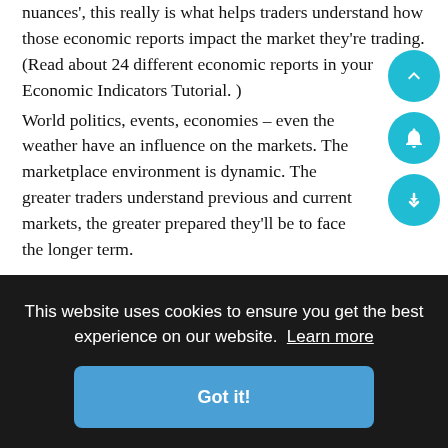nuances', this really is what helps traders understand how those economic reports impact the market they're trading. (Read about 24 different economic reports in your Economic Indicators Tutorial. )
World politics, events, economies – even the weather have an influence on the markets. The marketplace environment is dynamic. The greater traders understand previous and current markets, the greater prepared they'll be to face the longer term.
Rule No. 6 : Risk Only What You Can Afford to Lose
In rule No. 4, I mentioned that funding a trading account may be a long process. Before a trader begins using real cash, It's
...y It's. ...g ...costs ...selves
suggestion:
This website uses cookies to ensure you get the best experience on our website. Learn more
Got it!